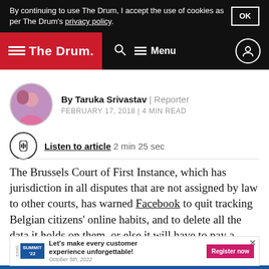By continuing to use The Drum, I accept the use of cookies as per The Drum's privacy policy. OK
The Drum | Search | Menu
By Taruka Srivastav | Reporter
FEBRUARY 17, 2018 | 4 MIN READ
Listen to article  2 min 25 sec
The Brussels Court of First Instance, which has jurisdiction in all disputes that are not assigned by law to other courts, has warned Facebook to quit tracking Belgian citizens' online habits, and to delete all the data it holds on them, or else it will have to pay a €100m fine.
[Figure (screenshot): Advertisement banner: Emeli Summit '22 - Let's make every customer experience unforgettable! Register now. October 5th, 2022. Close Ad button.]